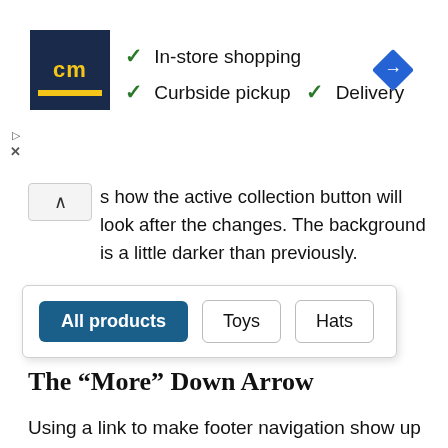[Figure (screenshot): Advertisement banner for a store showing a dark navy logo with 'cm' text, checkmarks for 'In-store shopping', 'Curbside pickup', and 'Delivery', and a blue navigation diamond icon on the right. Small play and close icons at bottom left.]
Here's how the active collection button will look after the changes. The background is a little darker than previously.
[Figure (screenshot): UI element showing collection filter buttons: 'All products' (active, dark teal background), 'Toys' (inactive, outlined), and 'Hats' (inactive, outlined).]
The “More” Down Arrow
Using a link to make footer navigation show up is not a best practice. The best thing to do would be to make the links visible at all times, or at least give the arrow link a name, but we can’t do that. Since we can’t, let’s change the text of the link to make it more obvious what clicking on it will do.